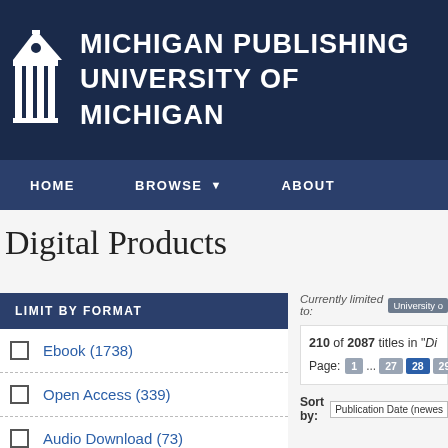[Figure (logo): University of Michigan building/column logo in white on dark navy background]
MICHIGAN PUBLISHING UNIVERSITY OF MICHIGAN
HOME   BROWSE   ABOUT
Digital Products
LIMIT BY FORMAT
Ebook (1738)
Open Access (339)
Audio Download (73)
Currently limited to: University of...
210 of 2087 titles in "Di...
Page: 1 ... 27 28 29
Sort by: Publication Date (newes...